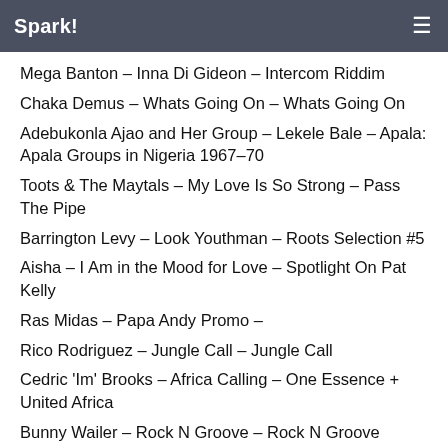Spark!
Mega Banton – Inna Di Gideon – Intercom Riddim
Chaka Demus – Whats Going On – Whats Going On
Adebukonla Ajao and Her Group – Lekele Bale – Apala: Apala Groups in Nigeria 1967–70
Toots & The Maytals – My Love Is So Strong – Pass The Pipe
Barrington Levy – Look Youthman – Roots Selection #5
Aisha – I Am in the Mood for Love – Spotlight On Pat Kelly
Ras Midas – Papa Andy Promo –
Rico Rodriguez – Jungle Call – Jungle Call
Cedric 'Im' Brooks – Africa Calling – One Essence + United Africa
Bunny Wailer – Rock N Groove – Rock N Groove (Original)
Bahia El Idrissi – Gelfou Alfou Hadami – Arhil
Steven Stanley Meets Tad's Roots Band – Police In Helicopter Dub – Dub Believer
Morgan Heritage f. Esh Morgan – Home (Kobe Bryant Tribute) – Promo
Chezidek – Because I'm Black – Promo